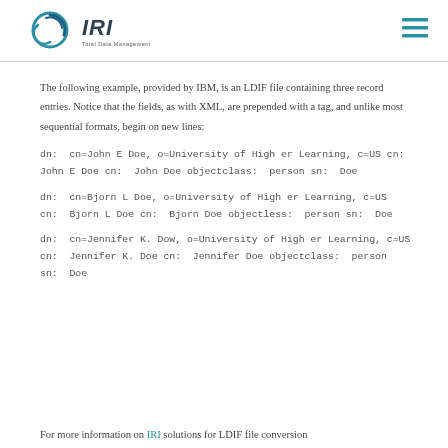IRI Total Data Management
The following example, provided by IBM, is an LDIF file containing three record entries. Notice that the fields, as with XML, are prepended with a tag, and unlike most sequential formats, begin on new lines:
dn:  cn=John E Doe, o=University of High er Learning, c=US cn:  John E Doe cn:  John Doe objectclass:  person sn:  Doe
dn:  cn=Bjorn L Doe, o=University of High er Learning, c=US cn:  Bjorn L Doe cn:  Bjorn Doe objectless:  person sn:  Doe
dn:  cn=Jennifer K. Dow, o=University of High er Learning, c=US cn:  Jennifer K. Doe cn:  Jennifer Doe objectclass:  person sn:  Doe
For more information on IRI solutions for LDIF file conversion